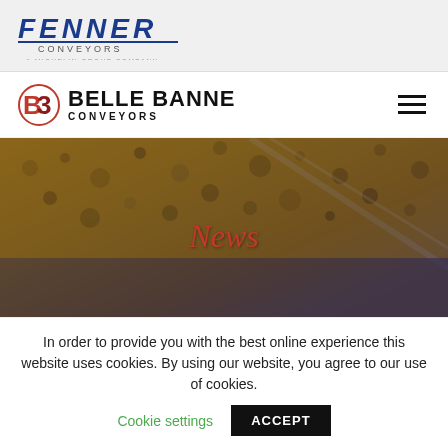[Figure (logo): Fenner Conveyors logo — bold italic blue text reading FENNER with underline, subtitle CONVEYORS in spaced caps, and tagline A MICHELIN GROUP COMPANY]
[Figure (logo): Belle Banne Conveyors logo — BB icon in red/maroon with bold text BELLE BANNE and subtitle CONVEYORS, plus hamburger menu icon on right]
[Figure (photo): Hero banner image showing a conveyor belt with granular material (ore/gravel) in warm brown/golden tones, overlaid with a semi-transparent dark blue tint. The word News appears in italic red text centered over the image.]
Reducing shutdown times with
In order to provide you with the best online experience this website uses cookies. By using our website, you agree to our use of cookies.
Cookie settings    ACCEPT